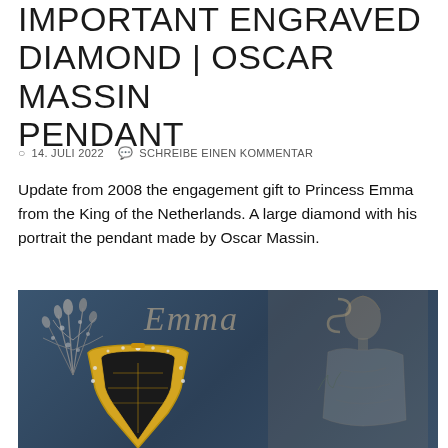IMPORTANT ENGRAVED DIAMOND | OSCAR MASSIN PENDANT
14. JULI 2022   SCHREIBE EINEN KOMMENTAR
Update from 2008 the engagement gift to Princess Emma from the King of the Netherlands. A large diamond with his portrait the pendant made by Oscar Massin.
[Figure (photo): Composite image showing a diamond brooch (top left), a cursive 'Emma' watermark overlay, a historical portrait of Princess Emma (right side), and a gold and black enameled diamond pendant (bottom center), all set against a dark blue background.]